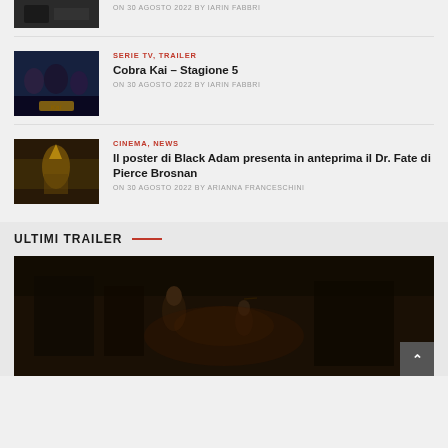[Figure (photo): Top article thumbnail image (partial, cropped)]
ON 30 AGOSTO 2022 BY IARIN FABBRI
[Figure (photo): Cobra Kai Season 5 thumbnail with group of people in dark setting]
SERIE TV, TRAILER
Cobra Kai – Stagione 5
ON 30 AGOSTO 2022 BY IARIN FABBRI
[Figure (photo): Black Adam poster thumbnail with golden armored figure]
CINEMA, NEWS
Il poster di Black Adam presenta in anteprima il Dr. Fate di Pierce Brosnan
ON 30 AGOSTO 2022 BY ARIANNA FRANCESCHINI
ULTIMI TRAILER
[Figure (photo): Dark cinematic trailer thumbnail showing Pinocchio-like figures in a workshop]